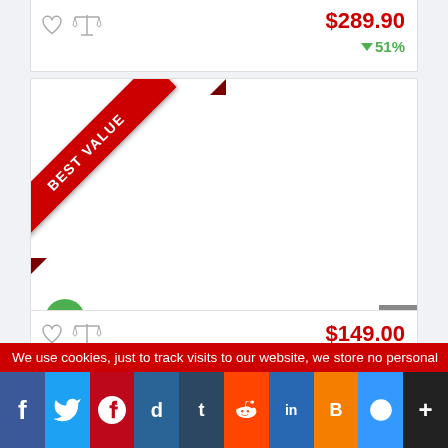$289.90 ↓51%
[Figure (illustration): Best Value ribbon badge on top-left corner of product card]
10  Push Notification Ads Traffic
$149.00
We use cookies, just to track visits to our website, we store no personal
[Figure (infographic): Social sharing icons bar: Facebook, Twitter, Pinterest, Digg, Tumblr, Reddit, LinkedIn, Blogger, Delicious, More]